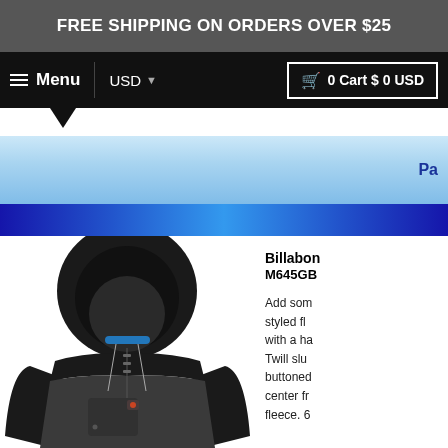FREE SHIPPING ON ORDERS OVER $25
Menu  USD  0 Cart $ 0 USD
[Figure (screenshot): Blue gradient navigation/banner bar with 'Pa' text visible on right side]
[Figure (photo): Billabong black and charcoal grey zip-up hoodie sweatshirt with hood up]
Billabong M645GB
Add som styled fl with a ha Twill slu buttoned center fr fleece. 6